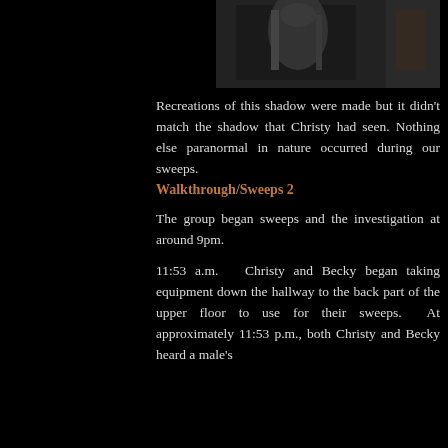[Figure (photo): Dark photograph showing a shadowy figure or doorway, mostly black with subtle grey tones]
Recreations of this shadow were made but it didn't match the shadow that Christy had seen. Nothing else paranormal in nature occurred during our sweeps.
Walkthrough/Sweeps 2
The group began sweeps and the investigation at around 9pm.
11:53 a.m.  Christy and Becky began taking equipment down the hallway to the back part of the upper floor to use for their sweeps.  At approximately 11:53 p.m., both Christy and Becky heard a male's